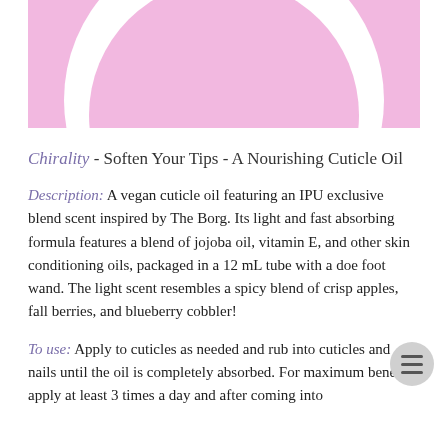[Figure (illustration): Pink circular logo/label area with white ring and pink inner circle on pink rectangular background, partially cropped at top of page]
Chirality - Soften Your Tips - A Nourishing Cuticle Oil
Description: A vegan cuticle oil featuring an IPU exclusive blend scent inspired by The Borg. Its light and fast absorbing formula features a blend of jojoba oil, vitamin E, and other skin conditioning oils, packaged in a 12 mL tube with a doe foot wand. The light scent resembles a spicy blend of crisp apples, fall berries, and blueberry cobbler!
To use: Apply to cuticles as needed and rub into cuticles and nails until the oil is completely absorbed. For maximum benefit, apply at least 3 times a day and after coming into